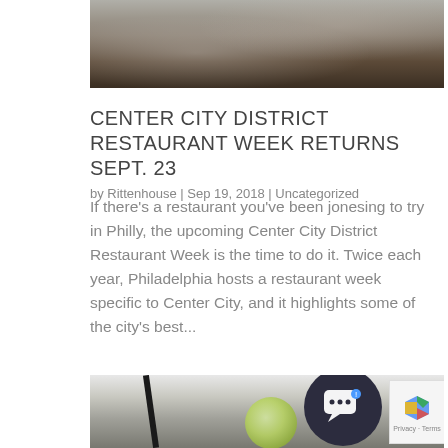[Figure (photo): Close-up photo of food on a plate with dark background, cropped at top]
CENTER CITY DISTRICT RESTAURANT WEEK RETURNS SEPT. 23
by Rittenhouse | Sep 19, 2018 | Uncategorized
If there's a restaurant you've been jonesing to try in Philly, the upcoming Center City District Restaurant Week is the time to do it. Twice each year, Philadelphia hosts a restaurant week specific to Center City, and it highlights some of the city's best...
[Figure (photo): Close-up photo of a cocktail glass with lime slice and straw, with chat widget overlay]